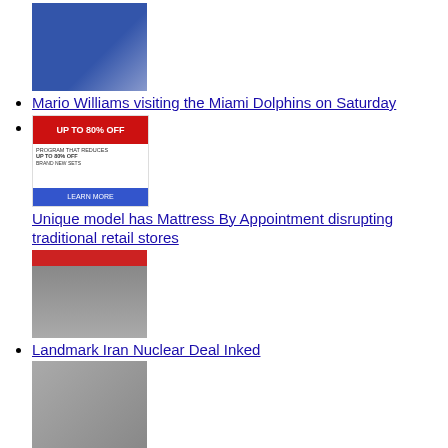Naked by Essations partners with Patric Bradley to launch Soft So Relaxer
Mario Williams visiting the Miami Dolphins on Saturday
Unique model has Mattress By Appointment disrupting traditional retail stores
Landmark Iran Nuclear Deal Inked
China bans all E-Cig exports
SayIt Cloud-Based Speech Recognition from nVoq: Now Available in Canada – Hosted by Microsoft Azure
Under UN Sanctions, North Korea bans all social media, test fires new missile